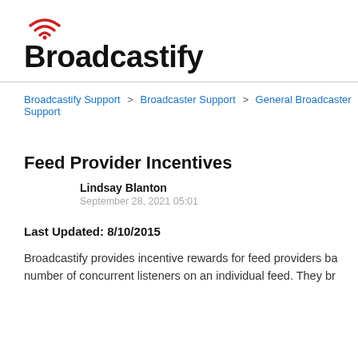[Figure (logo): Broadcastify logo with red wifi signal icon above bold black text 'Broadcastify']
Broadcastify Support > Broadcaster Support > General Broadcaster Support
Feed Provider Incentives
Lindsay Blanton
September 28, 2021 05:01
Last Updated: 8/10/2015
Broadcastify provides incentive rewards for feed providers based on the number of concurrent listeners on an individual feed. They br…